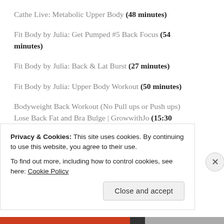Cathe Live: Metabolic Upper Body (48 minutes)
Fit Body by Julia: Get Pumped #5 Back Focus (54 minutes)
Fit Body by Julia: Back & Lat Burst (27 minutes)
Fit Body by Julia: Upper Body Workout (50 minutes)
Bodyweight Back Workout (No Pull ups or Push ups) Lose Back Fat and Bra Bulge | GrowwithJo (15:30 minutes)
Privacy & Cookies: This site uses cookies. By continuing to use this website, you agree to their use.
To find out more, including how to control cookies, see here: Cookie Policy
Close and accept